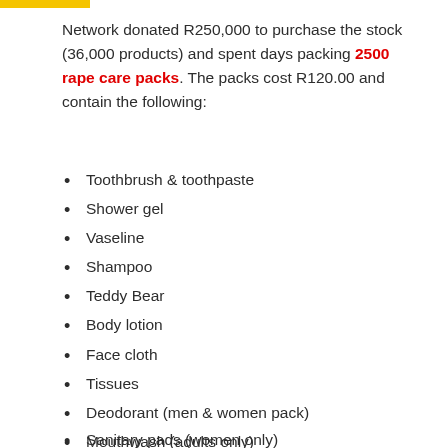Network donated R250,000 to purchase the stock (36,000 products) and spent days packing 2500 rape care packs. The packs cost R120.00 and contain the following:
Toothbrush & toothpaste
Shower gel
Vaseline
Shampoo
Teddy Bear
Body lotion
Face cloth
Tissues
Deodorant (men & women pack)
Mouthwash (adults only)
Comb
Sanitary pads (women only) [partial]